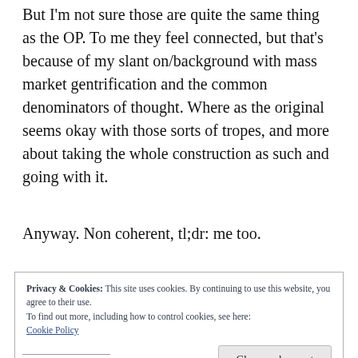But I'm not sure those are quite the same thing as the OP. To me they feel connected, but that's because of my slant on/background with mass market gentrification and the common denominators of thought. Where as the original seems okay with those sorts of tropes, and more about taking the whole construction as such and going with it.
Anyway. Non coherent, tl;dr: me too.
Privacy & Cookies: This site uses cookies. By continuing to use this website, you agree to their use.
To find out more, including how to control cookies, see here:
Cookie Policy
Close and accept